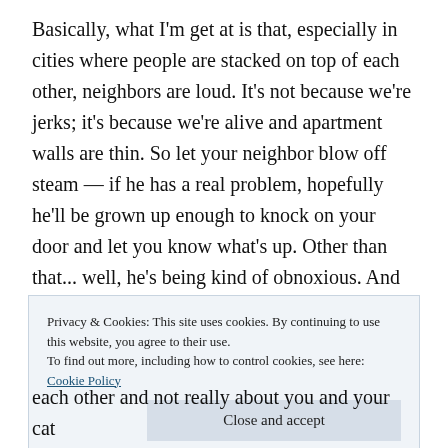Basically, what I'm get at is that, especially in cities where people are stacked on top of each other, neighbors are loud. It's not because we're jerks; it's because we're alive and apartment walls are thin. So let your neighbor blow off steam — if he has a real problem, hopefully he'll be grown up enough to knock on your door and let you know what's up. Other than that... well, he's being kind of obnoxious. And that sucks, and I'm really sorry it's so annoying and makes you feel bad (no sarcasm!).
Privacy & Cookies: This site uses cookies. By continuing to use this website, you agree to their use.
To find out more, including how to control cookies, see here: Cookie Policy
Close and accept
each other and not really about you and your cat